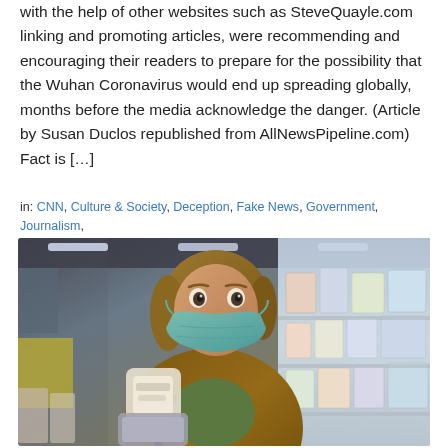with the help of other websites such as SteveQuayle.com linking and promoting articles, were recommending and encouraging their readers to prepare for the possibility that the Wuhan Coronavirus would end up spreading globally, months before the media acknowledge the danger. (Article by Susan Duclos republished from AllNewsPipeline.com) Fact is […]
in: CNN, Culture & Society, Deception, Fake News, Government, Journalism, Mainstream Media
[Figure (photo): A woman wearing a teal/green face mask shopping in a supermarket, holding grocery items, with store shelves visible in the background]